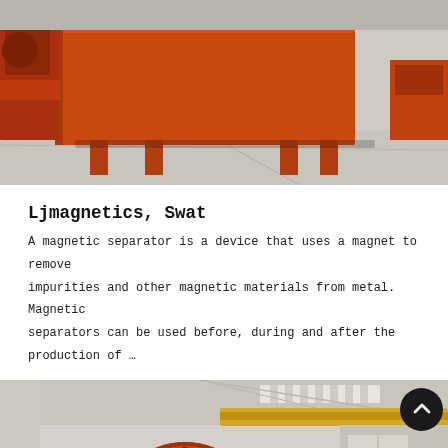[Figure (photo): Photo of a large orange/red industrial magnetic separator machine in a factory setting. The machine has a rectangular orange metal casing on legs, sitting on a concrete floor. Red industrial equipment visible in the background.]
Ljmagnetics, Swat
A magnetic separator is a device that uses a magnet to remove impurities and other magnetic materials from metal. Magnetic separators can be used before, during and after the production of …
[Figure (photo): Photo of a large orange/red rotary drum magnetic separator in an industrial factory building. The machine has a large cylindrical drum shape. A yellow overhead crane beam is visible. The factory has a high ceiling with skylights and fluorescent lighting.]